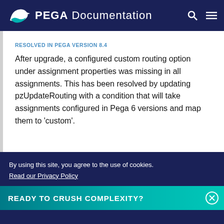PEGA Documentation
RESOLVED IN PEGA VERSION 8.4
After upgrade, a configured custom routing option under assignment properties was missing in all assignments. This has been resolved by updating pzUpdateRouting with a condition that will take assignments configured in Pega 6 versions and map them to 'custom'.
READY TO CRUSH COMPLEXITY?
By using this site, you agree to the use of cookies. Read our Privacy Policy
Accept and continue   About cookies